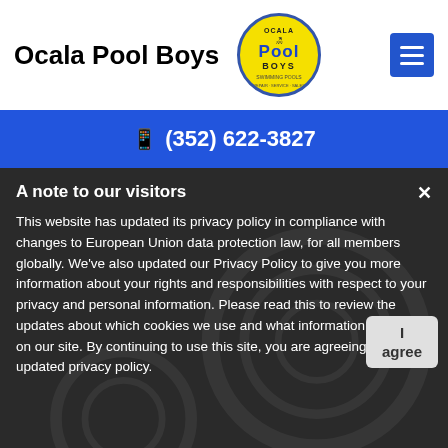Ocala Pool Boys
[Figure (logo): Circular logo for Ocala Pool Boys with yellow background and blue text]
[Figure (other): Blue hamburger/menu button with three white horizontal lines]
📱 (352) 622-3827
A note to our visitors
This website has updated its privacy policy in compliance with changes to European Union data protection law, for all members globally. We've also updated our Privacy Policy to give you more information about your rights and responsibilities with respect to your privacy and personal information. Please read this to review the updates about which cookies we use and what information we collect on our site. By continuing to use this site, you are agreeing to our updated privacy policy.